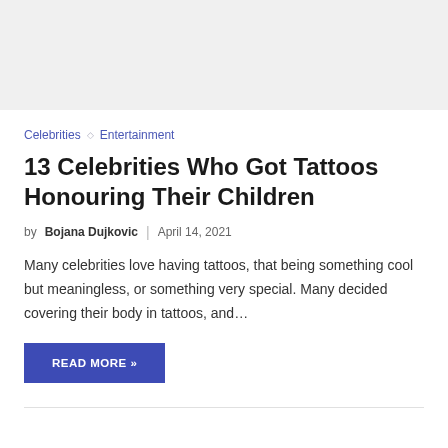[Figure (photo): Gray placeholder image area at the top of the article]
Celebrities ◇ Entertainment
13 Celebrities Who Got Tattoos Honouring Their Children
by Bojana Dujkovic | April 14, 2021
Many celebrities love having tattoos, that being something cool but meaningless, or something very special. Many decided covering their body in tattoos, and…
READ MORE »